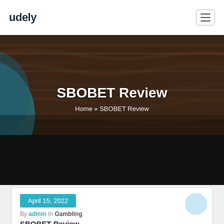udely
[Figure (screenshot): Hero banner with dark wood texture background and teal/dark blue abstract shape on left. Title 'SBOBET Review' in white bold text. Breadcrumb 'Home » SBOBET Review' below.]
SBOBET Review
Home » SBOBET Review
April 15, 2022
By admin In Gambling
SBOBET Review